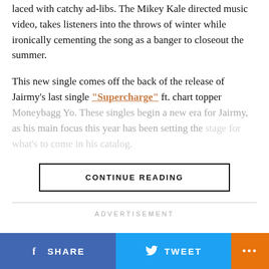laced with catchy ad-libs. The Mikey Kale directed music video, takes listeners into the throws of winter while ironically cementing the song as a banger to closeout the summer.
This new single comes off the back of the release of Jairmy's last single "Supercharge" ft. chart topper Moneybagg Yo. These singles begin a new era for Jairmy, as his main focus this year has been setting the [faded text]
CONTINUE READING
ADVERTISEMENT
SHARE  TWEET  ...